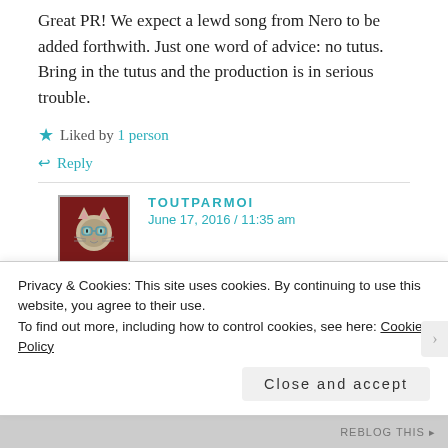Great PR! We expect a lewd song from Nero to be added forthwith. Just one word of advice: no tutus. Bring in the tutus and the production is in serious trouble.
★ Liked by 1 person
↩ Reply
TOUTPARMOI
June 17, 2016 / 11:35 am
Philip Stubbes was a remarkable writer, in more ways than one. I'm not surprised the cats all listen so
Privacy & Cookies: This site uses cookies. By continuing to use this website, you agree to their use.
To find out more, including how to control cookies, see here: Cookie Policy
Close and accept